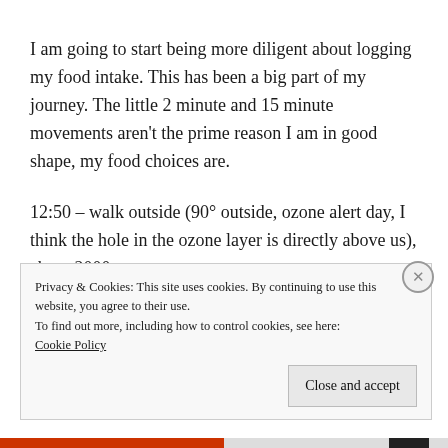I am going to start being more diligent about logging my food intake. This has been a big part of my journey. The little 2 minute and 15 minute movements aren't the prime reason I am in good shape, my food choices are.
12:50 – walk outside (90° outside, ozone alert day, I think the hole in the ozone layer is directly above us), about 2000 steps
Privacy & Cookies: This site uses cookies. By continuing to use this website, you agree to their use.
To find out more, including how to control cookies, see here:
Cookie Policy
Close and accept